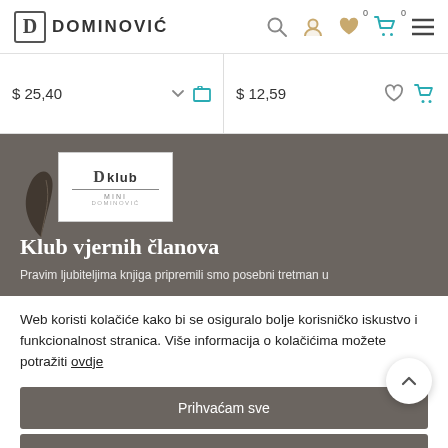DOMINOVIĆ
$ 25,40
$ 12,59
[Figure (logo): D klub Dominović loyalty club logo on dark background section]
Klub vjernih članova
Pravim ljubiteljima knjiga pripremili smo posebni tretman u
Web koristi kolačiće kako bi se osiguralo bolje korisničko iskustvo i funkcionalnost stranica. Više informacija o kolačićima možete potražiti ovdje
Prihvaćam sve
Prihvaćam samo neophodno
Postavke